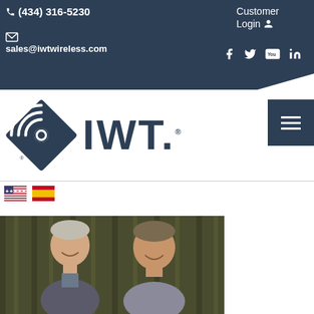📞 (434) 316-5230  ✉ sales@iwtwireless.com  Customer Login  f  🐦  You  in
[Figure (logo): IWT Wireless logo — navy diamond shape with concentric arcs and IWT. text]
[Figure (photo): Two men in business casual attire smiling in front of dark draped curtain background]